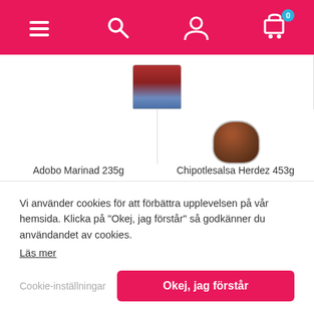[Figure (screenshot): Mobile website navigation bar with hamburger menu, search icon, user icon, and cart icon with badge showing 0]
[Figure (photo): Product image of Adobo Marinad 235g]
Adobo Marinad 235g
89,90 kr
[Figure (photo): Product image of Chipotlesalsa Herdez 453g]
Chipotlesalsa Herdez 453g
56,90 kr
Vi använder cookies för att förbättra upplevelsen på vår hemsida. Klicka på "Okej, jag förstår" så godkänner du användandet av cookies.
Läs mer
Cookie-inställningar
Okej, jag förstår